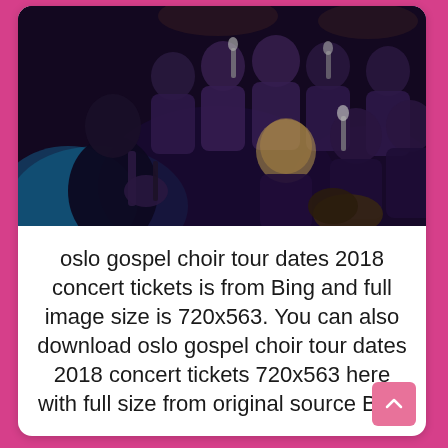[Figure (photo): A gospel choir performing on stage in a darkly lit venue. Multiple singers in dark/purple clothing holding microphones, with a guitarist visible in the foreground left. The lighting is dramatic with blue and purple tones.]
oslo gospel choir tour dates 2018 concert tickets is from Bing and full image size is 720x563. You can also download oslo gospel choir tour dates 2018 concert tickets 720x563 here with full size from original source Bing